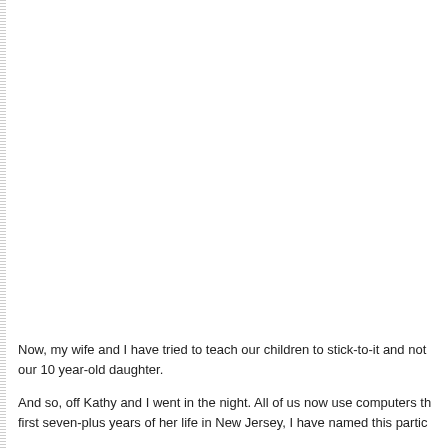Now, my wife and I have tried to teach our children to stick-to-it and not our 10 year-old daughter.
And so, off Kathy and I went in the night. All of us now use computers th first seven-plus years of her life in New Jersey, I have named this partic